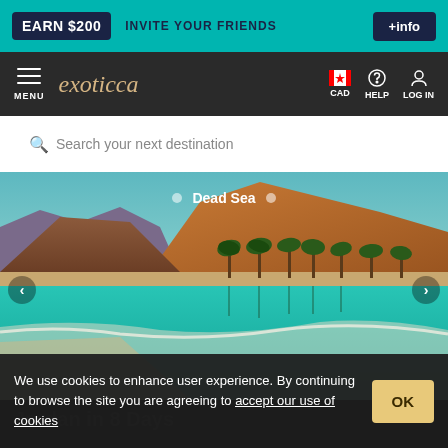EARN $200 INVITE YOUR FRIENDS +info
MENU exoticca CAD HELP LOG IN
Search your next destination
[Figure (photo): Dead Sea landscape with turquoise water, palm trees, and desert mountains in background. Carousel with dot indicators showing 'Dead Sea' label.]
Asia > Middle East > Jordan
Jordan in 8 Days
We use cookies to enhance user experience. By continuing to browse the site you are agreeing to accept our use of cookies
OK